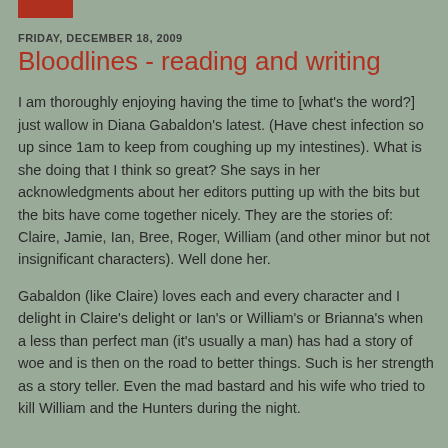FRIDAY, DECEMBER 18, 2009
Bloodlines - reading and writing
I am thoroughly enjoying having the time to [what's the word?] just wallow in Diana Gabaldon's latest. (Have chest infection so up since 1am to keep from coughing up my intestines). What is she doing that I think so great? She says in her acknowledgments about her editors putting up with the bits but the bits have come together nicely. They are the stories of: Claire, Jamie, Ian, Bree, Roger, William (and other minor but not insignificant characters). Well done her.
Gabaldon (like Claire) loves each and every character and I delight in Claire's delight or Ian's or William's or Brianna's when a less than perfect man (it's usually a man) has had a story of woe and is then on the road to better things. Such is her strength as a story teller. Even the mad bastard and his wife who tried to kill William and the Hunters during the night.